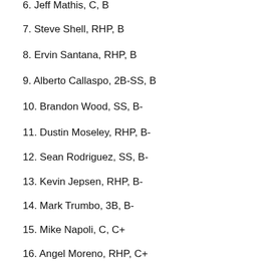6. Jeff Mathis, C, B
7. Steve Shell, RHP, B
8. Ervin Santana, RHP, B
9. Alberto Callaspo, 2B-SS, B
10. Brandon Wood, SS, B-
11. Dustin Moseley, RHP, B-
12. Sean Rodriguez, SS, B-
13. Kevin Jepsen, RHP, B-
14. Mark Trumbo, 3B, B-
15. Mike Napoli, C, C+
16. Angel Moreno, RHP, C+
17. Bob Zimmerman, RHP, C+
18. Maicer Izturis, SS, C+